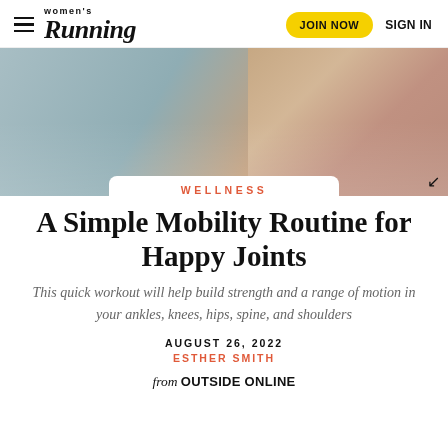Women's Running | JOIN NOW | SIGN IN
[Figure (photo): Close-up hero image of a person's ankle/foot area, blurred background with blue and skin tones]
WELLNESS
A Simple Mobility Routine for Happy Joints
This quick workout will help build strength and a range of motion in your ankles, knees, hips, spine, and shoulders
AUGUST 26, 2022
ESTHER SMITH
from OUTSIDE ONLINE